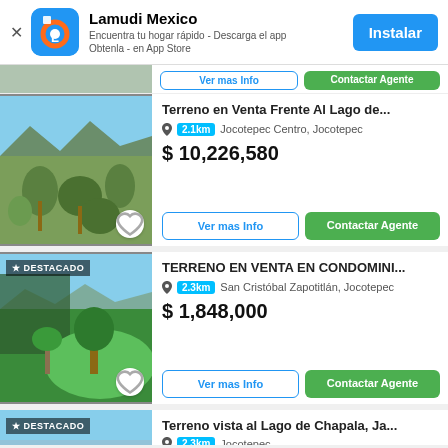[Figure (screenshot): Lamudi Mexico app banner with blue icon showing L logo, title 'Lamudi Mexico', subtitle 'Encuentra tu hogar rápido - Descarga el app Obtenla - en App Store', and blue 'Instalar' button]
Terreno en Venta Frente Al Lago de...
2.1km  Jocotepec Centro, Jocotepec
$ 10,226,580
Ver mas Info
Contactar Agente
TERRENO EN VENTA EN CONDOMINI...
2.3km  San Cristóbal Zapotitlán, Jocotepec
$ 1,848,000
Ver mas Info
Contactar Agente
Terreno vista al Lago de Chapala, Ja...
2.3km  Jocotepec